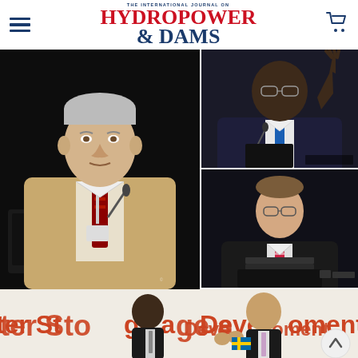THE INTERNATIONAL JOURNAL ON HYDROPOWER & DAMS
[Figure (photo): Older man with gray hair in tan blazer and red patterned tie speaking at a podium with a laptop, dark background, conference setting]
[Figure (photo): African man in dark suit and blue tie raising hand at podium with microphone, conference setting]
[Figure (photo): Man in dark suit with striped tie speaking at podium with laptop, conference setting, dark background]
[Figure (photo): Two men seated at conference table with banner reading 'Water Storage and Development' behind them; one African man and one European man applauding, Swedish flag visible]